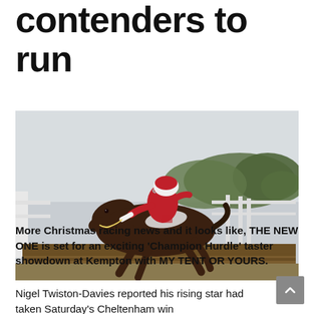contenders to run
[Figure (photo): A jockey in red and white silks riding a dark brown horse jumping over a hurdle fence at a racecourse, with trees and white rails in the background.]
More Christmas racing news and it looks like, THE NEW ONE is set for an exciting 'Champion Hurdle' taster showdown at Kempton with MY TENT OR YOURS.
Nigel Twiston-Davies reported his rising star had taken Saturday's Cheltenham win